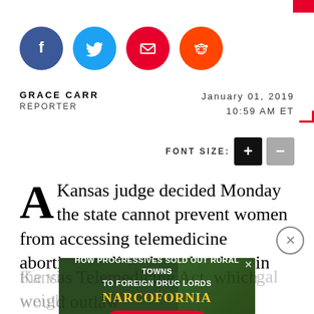[Figure (other): Social share buttons: Facebook (blue circle), Twitter (light blue circle), Email (red circle), Reddit (orange circle)]
GRACE CARR
REPORTER
January 01, 2019
10:59 AM ET
FONT SIZE: + −
A Kansas judge decided Monday the state cannot prevent women from accessing telemedicine abortions, ruling that a law banning the virtual procedure holds no legal weight.
District ... the Kansas Telemedicine Act, which would outlaw
[Figure (other): Advertisement banner: 'HOW PROGRESSIVES SOLD OUT RURAL TOWNS TO FOREIGN DRUG LORDS' with NARCOFORNIA logo and WATCH NOW button on dark green background with cannabis leaf imagery]